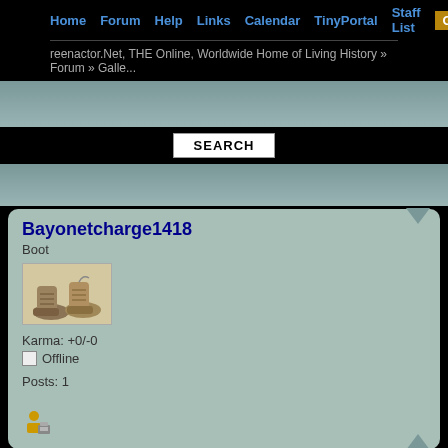Home  Forum  Help  Links  Calendar  TinyPortal  Staff List  Gallery
reenactor.Net, THE Online, Worldwide Home of Living History » Forum » Galle...
SEARCH
Bayonetcharge1418
Boot
[Figure (photo): Avatar image of two military boots]
Karma: +0/-0
Offline
Posts: 1
[Figure (illustration): User profile icon with briefcase/ID badge]